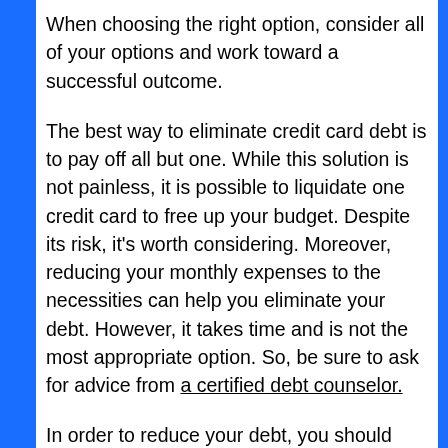When choosing the right option, consider all of your options and work toward a successful outcome.
The best way to eliminate credit card debt is to pay off all but one. While this solution is not painless, it is possible to liquidate one credit card to free up your budget. Despite its risk, it's worth considering. Moreover, reducing your monthly expenses to the necessities can help you eliminate your debt. However, it takes time and is not the most appropriate option. So, be sure to ask for advice from a certified debt counselor.
In order to reduce your debt, you should make